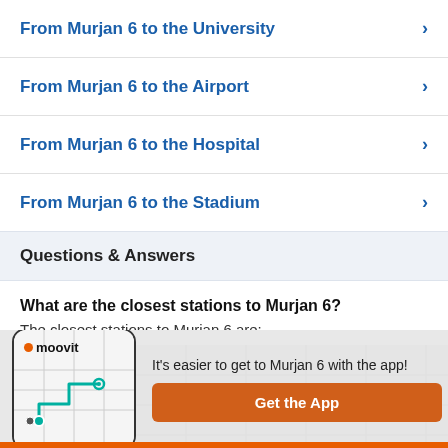From Murjan 6 to the University
From Murjan 6 to the Airport
From Murjan 6 to the Hospital
From Murjan 6 to the Stadium
Questions & Answers
What are the closest stations to Murjan 6?
The closest stations to Murjan 6 are:
It's easier to get to Murjan 6 with the app!
Get the App